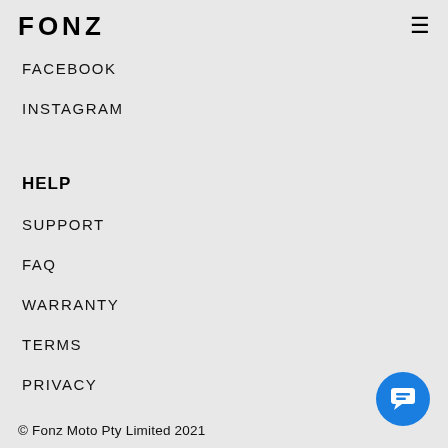FONZ
FACEBOOK
INSTAGRAM
HELP
SUPPORT
FAQ
WARRANTY
TERMS
PRIVACY
© Fonz Moto Pty Limited 2021